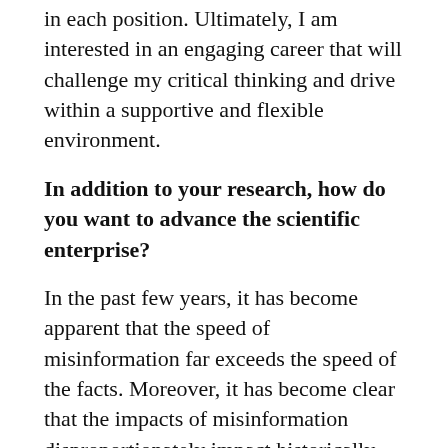in each position. Ultimately, I am interested in an engaging career that will challenge my critical thinking and drive within a supportive and flexible environment.
In addition to your research, how do you want to advance the scientific enterprise?
In the past few years, it has become apparent that the speed of misinformation far exceeds the speed of the facts. Moreover, it has become clear that the impacts of misinformation disproportionately impact historically oppressed and disadvantaged groups. The CDC estimates that Native Americans, Hispanic Americans, and African Americans are two to three times more likely to die of COVID-19 than white Americans, and misinformation spread by individuals of